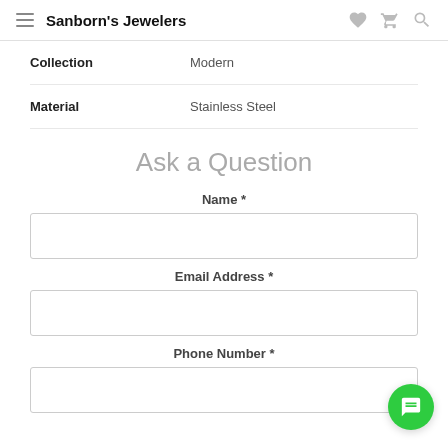Sanborn's Jewelers
| Attribute | Value |
| --- | --- |
| Collection | Modern |
| Material | Stainless Steel |
Ask a Question
Name *
Email Address *
Phone Number *